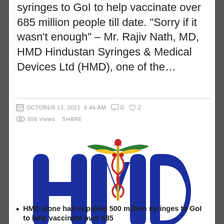syringes to GoI to help vaccinate over 685 million people till date. "Sorry if it wasn't enough" – Mr. Rajiv Nath, MD, HMD Hindustan Syringes & Medical Devices Ltd (HMD), one of the...
OCTOBER 13, 2021  6:46 am  0  2  558 Views  SHARE
[Figure (logo): HMD Hindustan Syringes & Medical Devices Ltd logo — large dark blue block letters H, M, D with a caduceus medical symbol (red serpents on gold staff with green/yellow wings and red figure on top) integrated into the lettering]
HMD alone had supplied 500 million syringes to GoI to help vaccinate over 685